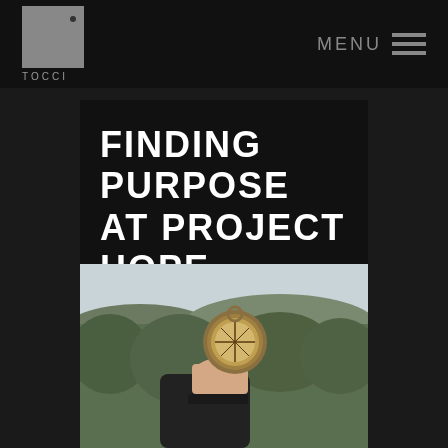TOCCI MENU
FINDING PURPOSE AT PROJECT HOPE
[Figure (photo): A hand holding a vintage compass against a blurred background of green hills and a light sky.]